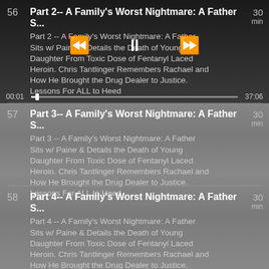56  Part 2-- A Family's Worst Nightmare: A Father S...  30 min
Part 2 -- A Family's Worst Nightmare: A Father Sits w/ Paine & Details the Death of Young Daughter From Toxic Dose of Fentanyl Laced Heroin. Chris Tantlinger Remembers Rachael and How He Brought the Drug Dealer to Justice. Lessons For ALL to Heed
57  Part 3-- A Family's Worst Nightmare: A Father S...  30 min
Part 3 -- A Family's Worst Nightmare: A Father Sits w/ Paine & Details the Death of Young Daughter From Toxic Dose of Fentanyl Laced Heroin. Chris Tantlinger Remembers Rachael and How He Brought the Drug Dealer to Justice. Lessons For ALL to Heed
58  Part 4-- A Family's Worst Nightmare: A Father S...  30 min
Part 4 -- A Family's Worst Nightmare: A Father Sits w/ Paine & Details the Death of Young Daughter From Toxic Dose of Fentanyl Laced Heroin. Chris Tantlinger Remembers Rachael and How He Brought the Drug Dealer to Justice. Lessons For ALL to Heed